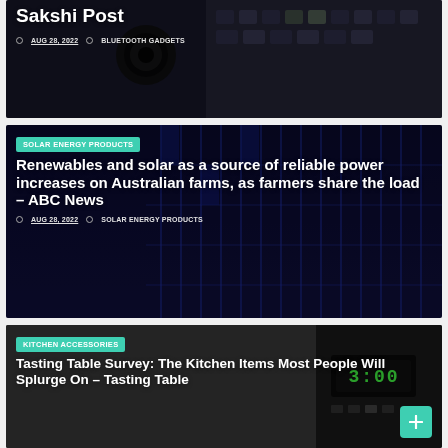[Figure (photo): Partial view of a tech/gadgets article card showing keyboard and bluetooth gadgets. Top portion cut off showing 'Sakshi Post' title partially.]
AUG 28, 2022
BLUETOOTH GADGETS
[Figure (photo): Solar panels background image for article about renewables and solar energy.]
SOLAR ENERGY PRODUCTS
Renewables and solar as a source of reliable power increases on Australian farms, as farmers share the load – ABC News
AUG 28, 2022
SOLAR ENERGY PRODUCTS
[Figure (photo): Microwave oven background image showing digital display reading 3:00.]
KITCHEN ACCESSORIES
Tasting Table Survey: The Kitchen Items Most People Will Splurge On – Tasting Table